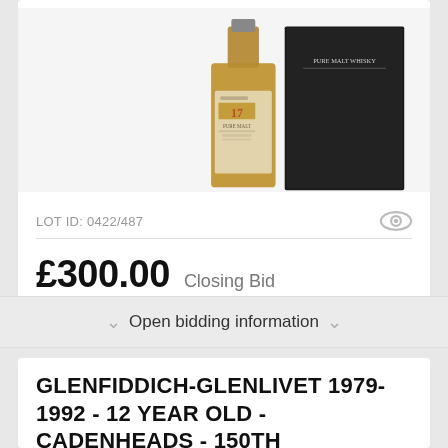[Figure (photo): Whisky bottle (Nikka 17 Pure Malt) with box, product shot on white/dark background]
LOT ID: 0422/487
£300.00  Closing Bid
Open bidding information
GLENFIDDICH-GLENLIVET 1979-1992 - 12 YEAR OLD - CADENHEADS - 150TH ANNIVERSARY